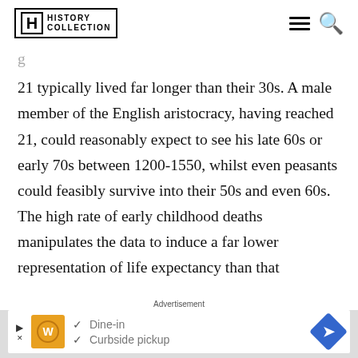HISTORY COLLECTION
21 typically lived far longer than their 30s. A male member of the English aristocracy, having reached 21, could reasonably expect to see his late 60s or early 70s between 1200-1550, whilst even peasants could feasibly survive into their 50s and even 60s. The high rate of early childhood deaths manipulates the data to induce a far lower representation of life expectancy than that
Advertisement
[Figure (infographic): Advertisement banner showing a restaurant ad with orange logo, dine-in and curbside pickup options, and a blue arrow icon]